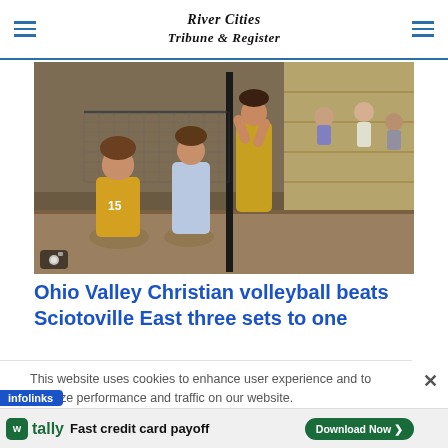River Cities Tribune & Register
[Figure (photo): Volleyball players from Ohio Valley Christian (in yellow/gold uniforms) and Sciotoville East (in light blue uniforms) at the net during a match, with bleachers visible in background.]
Ohio Valley Christian volleyball beats Sciotoville East three sets to one
This website uses cookies to enhance user experience and to analyze performance and traffic on our website.
infolinks
[Figure (infographic): Tally advertisement: 'Fast credit card payoff' with Download Now button]